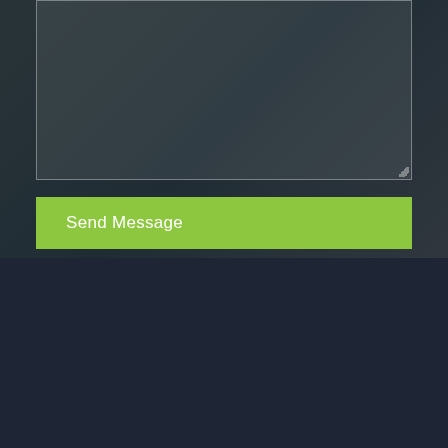[Figure (screenshot): Dark overlay background section showing a textarea input field with border and resize handle, part of a contact form on a construction company website]
Send Message
ABOUT US
A London based construction company, dFinal Touch specialises in architecture, construction, interior design, renovations,